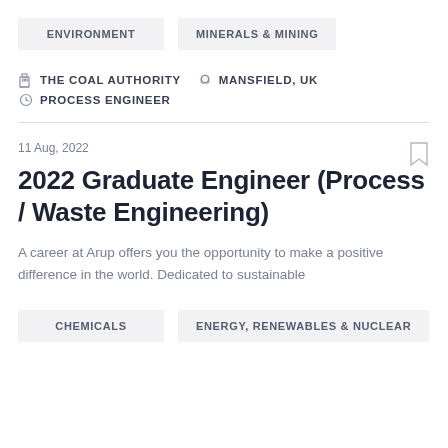ENVIRONMENT
MINERALS & MINING
THE COAL AUTHORITY   MANSFIELD, UK   PROCESS ENGINEER
11 Aug, 2022
2022 Graduate Engineer (Process / Waste Engineering)
A career at Arup offers you the opportunity to make a positive difference in the world. Dedicated to sustainable
CHEMICALS
ENERGY, RENEWABLES & NUCLEAR